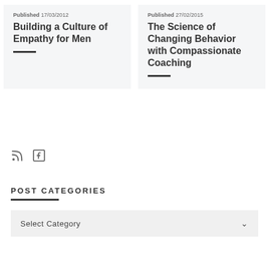Published 17/03/2012
Building a Culture of Empathy for Men
Published 27/02/2015
The Science of Changing Behavior with Compassionate Coaching
[Figure (other): RSS feed icon and Facebook icon]
POST CATEGORIES
Select Category